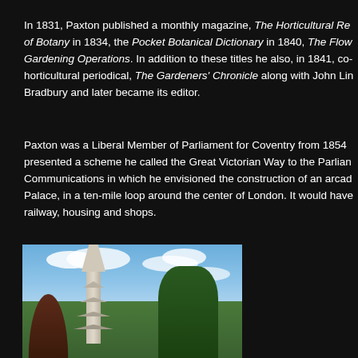In 1831, Paxton published a monthly magazine, The Horticultural Register and General Magazine, and Lindley's Guide to the Orchard and Kitchen Garden, as well as the Pocket Botanical Dictionary in 1840, The Flower Garden and a book on Gardening Operations. In addition to these titles he also, in 1841, co-founded the horticultural periodical, The Gardeners' Chronicle along with John Lindley and Frederick Bradbury and later became its editor.
Paxton was a Liberal Member of Parliament for Coventry from 1854 onwards. He presented a scheme he called the Great Victorian Way to the Parliamentary Select Committee on Communications in which he envisioned the construction of an arcade, similar to the Crystal Palace, in a ten-mile loop around the center of London. It would have incorporated a railway, housing and shops.
[Figure (photo): Photograph of a Gothic memorial spire/monument with a cross on top, flanked by tall dark green coniferous trees and a dark reddish tree on the left, against a blue sky with white clouds.]